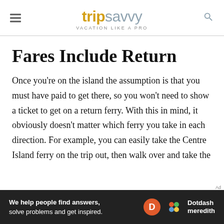tripsavvy VACATION LIKE A PRO
Fares Include Return
Once you're on the island the assumption is that you must have paid to get there, so you won't need to show a ticket to get on a return ferry. With this in mind, it obviously doesn't matter which ferry you take in each direction. For example, you can easily take the Centre Island ferry on the trip out, then walk over and take the
[Figure (infographic): Dotdash Meredith advertisement bar: 'We help people find answers, solve problems and get inspired.' with D circle logo and Dotdash meredith branding]